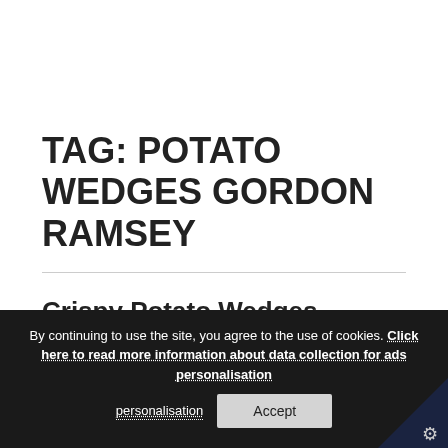TAG: POTATO WEDGES GORDON RAMSEY
Crispy Potato Wedges
I am all about crispy potatoes. They are
By continuing to use the site, you agree to the use of cookies. Click here to read more information about data collection for ads personalisation  Accept